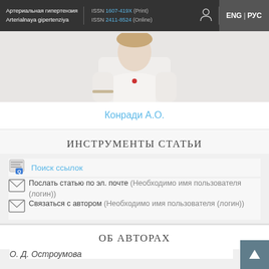Артериальная гипертензия / Arterialnaya gipertenziya | ISSN 1607-419X (Print) | ISSN 2411-8524 (Online) | ENG | РУС
[Figure (photo): Author photo cropped at top, showing person in white coat]
Конради А.О.
ИНСТРУМЕНТЫ СТАТЬИ
Поиск ссылок
Послать статью по эл. почте (Необходимо имя пользователя (логин))
Связаться с автором (Необходимо имя пользователя (логин))
ОБ АВТОРАХ
О. Д. Остроумова